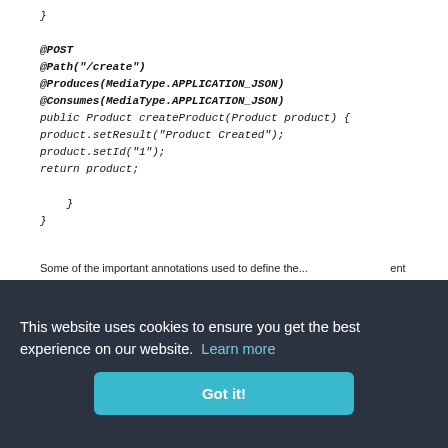}

@POST
@Path("/create")
@Produces(MediaType.APPLICATION_JSON)
@Consumes(MediaType.APPLICATION_JSON)
public Product createProduct(Product product) {
product.setResult("Product Created");
product.setId("1");
return product;

    }
}
Some of the important annotations used to define the ... ent
... the othe ... can be d ... MediaType ... MediaTyp ...
This website uses cookies to ensure you get the best experience on our website.  Learn more
Got it!
POJO class to map JSON Input/Output